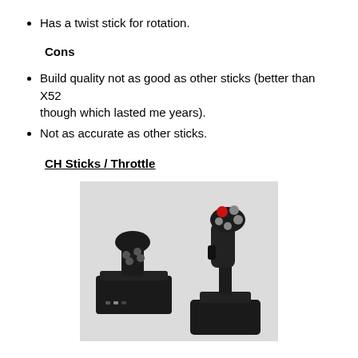Has a twist stick for rotation.
Cons
Build quality not as good as other sticks (better than X52 though which lasted me years).
Not as accurate as other sticks.
CH Sticks / Throttle
[Figure (photo): Photo of CH Sticks and Throttle: a joystick controller on the right with red and grey buttons on top, and a throttle controller on the left with buttons, both black, on a light grey background.]